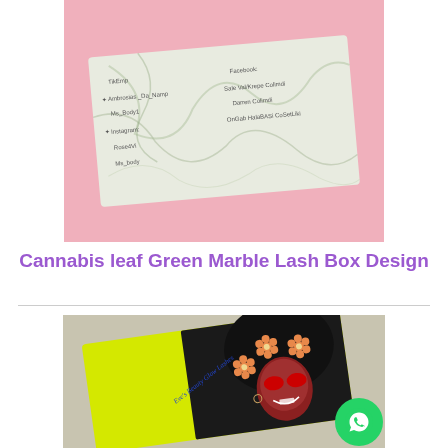[Figure (photo): Photo of a green marble lash box design with text fields on a pink background]
Cannabis leaf Green Marble Lash Box Design
[Figure (photo): Photo of a yellow-green lash box with illustration of a Black woman with afro hair decorated with orange flowers, text reading Eve's Beauty Glow Lashes]